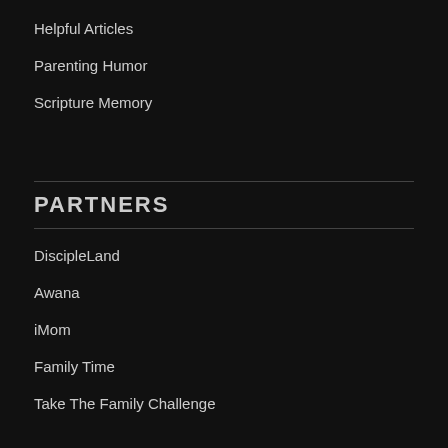Helpful Articles
Parenting Humor
Scripture Memory
PARTNERS
DiscipleLand
Awana
iMom
Family Time
Take The Family Challenge